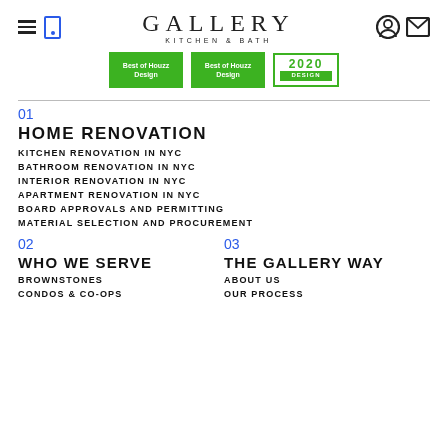GALLERY KITCHEN & BATH
[Figure (logo): Gallery Kitchen & Bath logo with Best of Houzz Design badges (two green badges and a 2020 design badge)]
01
HOME RENOVATION
KITCHEN RENOVATION IN NYC
BATHROOM RENOVATION IN NYC
INTERIOR RENOVATION IN NYC
APARTMENT RENOVATION IN NYC
BOARD APPROVALS AND PERMITTING
MATERIAL SELECTION AND PROCUREMENT
02
03
WHO WE SERVE
THE GALLERY WAY
BROWNSTONES
ABOUT US
CONDOS & CO-OPS
OUR PROCESS